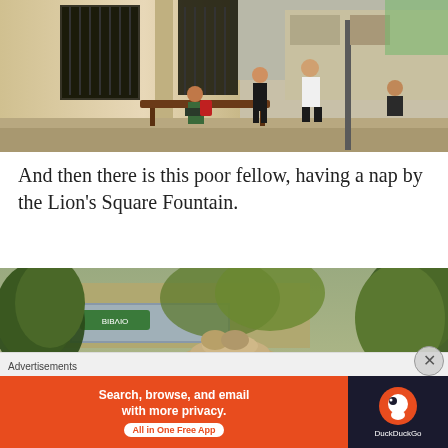[Figure (photo): Street scene showing people sitting on a bench and standing near a classical building facade with ornate ironwork gates. Several people are visible including a person sitting on a bench with a backpack, others standing, and a woman seated to the right.]
And then there is this poor fellow, having a nap by the Lion's Square Fountain.
[Figure (photo): Outdoor photo showing a stone fountain (Lion's Square Fountain) surrounded by green trees and bushes, with a building visible in the background.]
Advertisements
[Figure (infographic): DuckDuckGo advertisement banner: 'Search, browse, and email with more privacy. All in One Free App' with orange background on the left and DuckDuckGo logo on dark background on the right.]